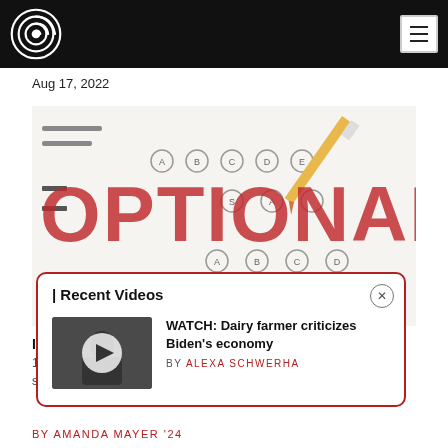Aug 17, 2022
[Figure (photo): SAT scantron bubble sheet with pencil and large red OPTIONAL text overlay]
[Figure (screenshot): Recent Videos popup with video thumbnail and text: WATCH: Dairy farmer criticizes Biden's economy BY ALEXA SCHWERHA]
BY AMANDA MAYER '24